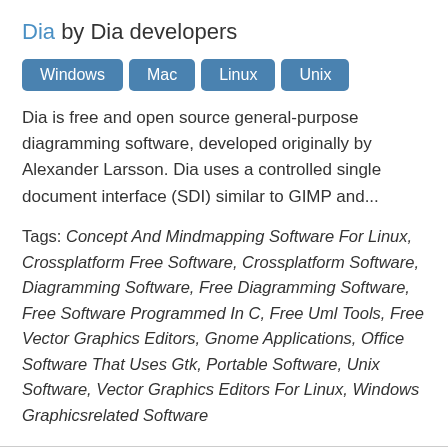Dia by Dia developers
[Figure (infographic): Four platform badge buttons: Windows, Mac, Linux, Unix]
Dia is free and open source general-purpose diagramming software, developed originally by Alexander Larsson. Dia uses a controlled single document interface (SDI) similar to GIMP and...
Tags: Concept And Mindmapping Software For Linux, Crossplatform Free Software, Crossplatform Software, Diagramming Software, Free Diagramming Software, Free Software Programmed In C, Free Uml Tools, Free Vector Graphics Editors, Gnome Applications, Office Software That Uses Gtk, Portable Software, Unix Software, Vector Graphics Editors For Linux, Windows Graphicsrelated Software
MakeHuman by The MakeHuman team.